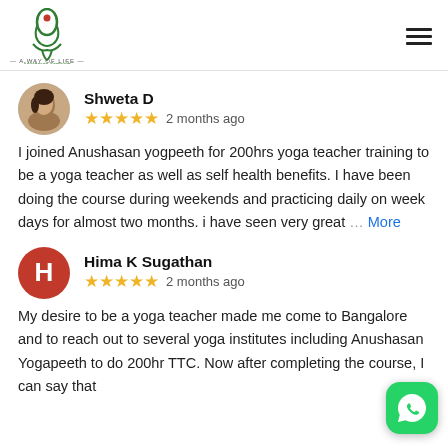Anushasan Yogpeeth — A Way of Life
Shweta D
★★★★★ 2 months ago
I joined Anushasan yogpeeth for 200hrs yoga teacher training to be a yoga teacher as well as self health benefits. I have been doing the course during weekends and practicing daily on week days for almost two months. i have seen very great … More
Hima K Sugathan
★★★★★ 2 months ago
My desire to be a yoga teacher made me come to Bangalore and to reach out to several yoga institutes including Anushasan Yogapeeth to do 200hr TTC. Now after completing the course, I can say that